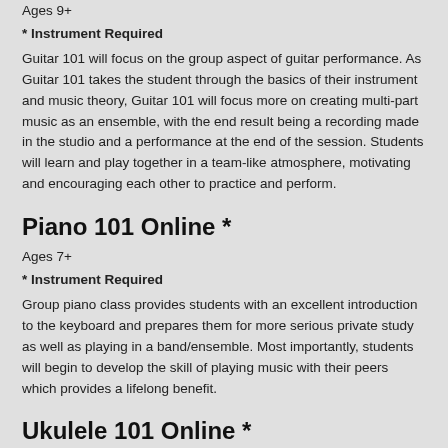Ages 9+
* Instrument Required
Guitar 101 will focus on the group aspect of guitar performance. As Guitar 101 takes the student through the basics of their instrument and music theory, Guitar 101 will focus more on creating multi-part music as an ensemble, with the end result being a recording made in the studio and a performance at the end of the session. Students will learn and play together in a team-like atmosphere, motivating and encouraging each other to practice and perform.
Piano 101 Online *
Ages 7+
* Instrument Required
Group piano class provides students with an excellent introduction to the keyboard and prepares them for more serious private study as well as playing in a band/ensemble. Most importantly, students will begin to develop the skill of playing music with their peers which provides a lifelong benefit.
Ukulele 101 Online *
Ages 7+